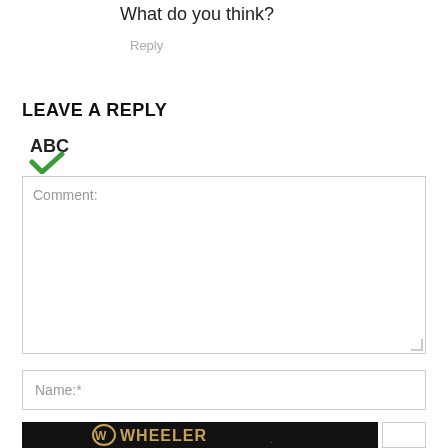What do you think?
Reply
LEAVE A REPLY
[Figure (illustration): ABC spellcheck icon with green checkmark]
Comment:
Name:*
[Figure (logo): Wheeler logo on black background with gold text and stylized W emblem]